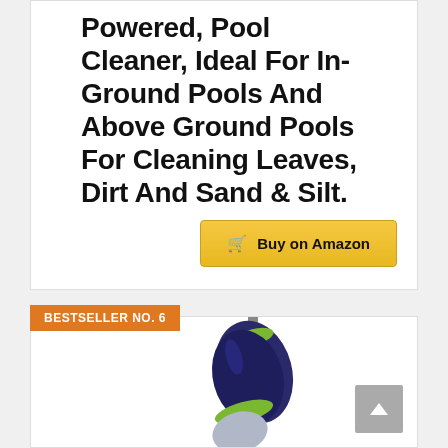Powered, Pool Cleaner, Ideal For In-Ground Pools And Above Ground Pools For Cleaning Leaves, Dirt And Sand & Silt.
[Figure (other): Yellow 'Buy on Amazon' button with shopping cart icon]
BESTSELLER NO. 6
[Figure (photo): Photo of a handheld pool cleaner/vacuum device, dark navy blue and green, with a handle/pole attachment, shown against a white background]